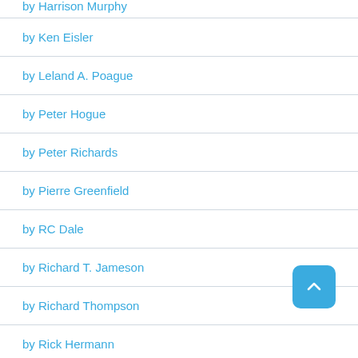by Harrison Murphy
by Ken Eisler
by Leland A. Poague
by Peter Hogue
by Peter Richards
by Pierre Greenfield
by RC Dale
by Richard T. Jameson
by Richard Thompson
by Rick Hermann